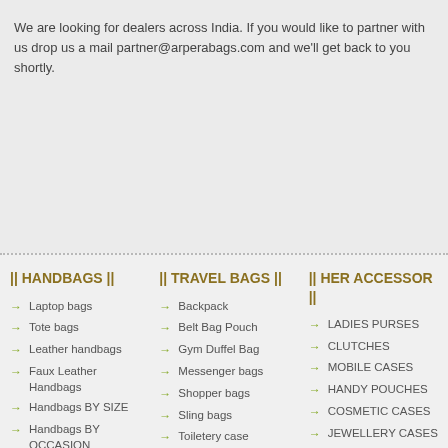We are looking for dealers across India. If you would like to partner with us drop us a mail partner@arperabags.com and we'll get back to you shortly.
|| HANDBAGS ||
Laptop bags
Tote bags
Leather handbags
Faux Leather Handbags
Handbags BY SIZE
Handbags BY OCCASION
|| TRAVEL BAGS ||
Backpack
Belt Bag Pouch
Gym Duffel Bag
Messenger bags
Shopper bags
Sling bags
Toiletery case
|| HER ACCESSORIES ||
LADIES PURSES
CLUTCHES
MOBILE CASES
HANDY POUCHES
COSMETIC CASES
JEWELLERY CASES
CARD HOLDERS
COIN & KEY CASES
CHARMS
SPECTACLE CASES